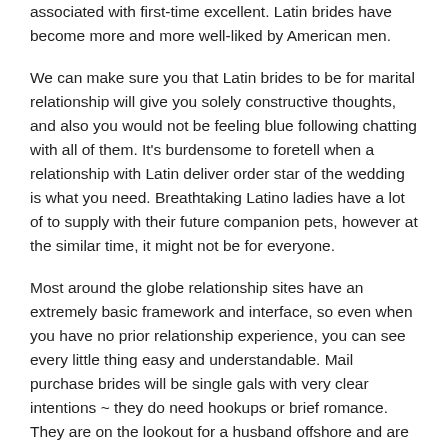associated with first-time excellent. Latin brides have become more and more well-liked by American men.
We can make sure you that Latin brides to be for marital relationship will give you solely constructive thoughts, and also you would not be feeling blue following chatting with all of them. It's burdensome to foretell when a relationship with Latin deliver order star of the wedding is what you need. Breathtaking Latino ladies have a lot of to supply with their future companion pets, however at the similar time, it might not be for everyone.
Most around the globe relationship sites have an extremely basic framework and interface, so even when you have no prior relationship experience, you can see every little thing easy and understandable. Mail purchase brides will be single gals with very clear intentions ~ they do need hookups or brief romance. They are on the lookout for a husband offshore and are looking forward to